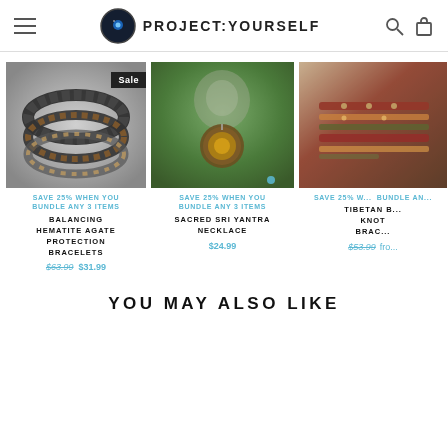PROJECT:YOURSELF
[Figure (photo): Balancing Hematite Agate Protection Bracelets - beaded bracelets with black and amber beads, Sale badge]
SAVE 25% WHEN YOU BUNDLE ANY 3 ITEMS
BALANCING HEMATITE AGATE PROTECTION BRACELETS
$63.99  $31.99
[Figure (photo): Sacred Sri Yantra Necklace - pendant necklace with geometric mandala design on blurred garden background]
SAVE 25% WHEN YOU BUNDLE ANY 3 ITEMS
SACRED SRI YANTRA NECKLACE
$24.99
[Figure (photo): Tibetan Buddhist Knot Bracelet - partial view of wrapped bracelet with colorful threads]
SAVE 25% W... BUNDLE AN...
TIBETAN B... KNOT BRAC...
$53.99  fro...
YOU MAY ALSO LIKE